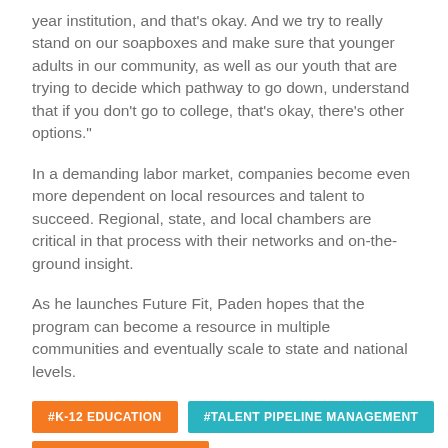year institution, and that's okay. And we try to really stand on our soapboxes and make sure that younger adults in our community, as well as our youth that are trying to decide which pathway to go down, understand that if you don't go to college, that's okay, there's other options."
In a demanding labor market, companies become even more dependent on local resources and talent to succeed. Regional, state, and local chambers are critical in that process with their networks and on-the-ground insight.
As he launches Future Fit, Paden hopes that the program can become a resource in multiple communities and eventually scale to state and national levels.
#K-12 EDUCATION
#TALENT PIPELINE MANAGEMENT
#YOUTH EMPLOYMENT